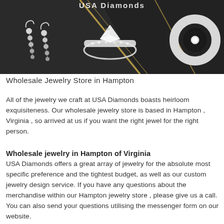[Figure (photo): Dark luxury jewelry promotional banner showing diamond drop earrings on the left, a diamond engagement ring in the center, and a white gold/silver band ring on the right, with gold diagonal stripe accents on a dark background. Partial text 'USA Diamonds' visible at top.]
Wholesale Jewelry Store in Hampton
All of the jewelry we craft at USA Diamonds boasts heirloom exquisiteness. Our wholesale jewelry store is based in Hampton , Virginia , so arrived at us if you want the right jewel for the right person.
Wholesale jewelry in Hampton of Virginia
USA Diamonds offers a great array of jewelry for the absolute most specific preference and the tightest budget, as well as our custom jewelry design service. If you have any questions about the merchandise within our Hampton jewelry store , please give us a call. You can also send your questions utilising the messenger form on our website.